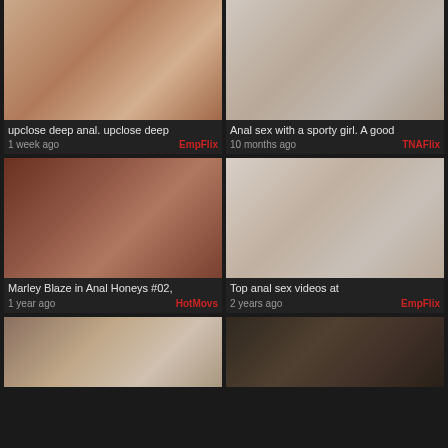[Figure (screenshot): Video thumbnail grid - top left video thumbnail]
upclose deep anal. upclose deep
1 week ago | EmpFlix
[Figure (screenshot): Video thumbnail grid - top right video thumbnail]
Anal sex with a sporty girl. A good
10 months ago | TNAFlix
[Figure (screenshot): Video thumbnail grid - middle left video thumbnail]
Marley Blaze in Anal Honeys #02,
1 year ago | HotMovs
[Figure (screenshot): Video thumbnail grid - middle right video thumbnail]
Top anal sex videos at
2 years ago | EmpFlix
[Figure (screenshot): Video thumbnail grid - bottom left video thumbnail (partially visible)]
[Figure (screenshot): Video thumbnail grid - bottom right video thumbnail (partially visible)]